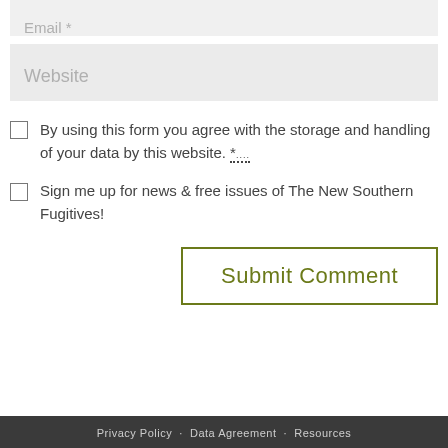Email *
Website
By using this form you agree with the storage and handling of your data by this website. *
Sign me up for news & free issues of The New Southern Fugitives!
Submit Comment
Privacy Policy  ·  Data Agreement  ·  Resources